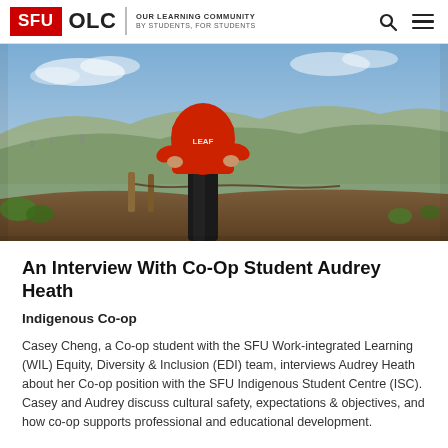SFU OLC | OUR LEARNING COMMUNITY BY STUDENTS, FOR STUDENTS
[Figure (photo): Person wearing a red LEAF t-shirt standing on a hilltop with hands on hips, overlooking a wide landscape with city and hills in the background under a partly cloudy sky.]
An Interview With Co-Op Student Audrey Heath
Indigenous Co-op
Casey Cheng, a Co-op student with the SFU Work-integrated Learning (WIL) Equity, Diversity & Inclusion (EDI) team, interviews Audrey Heath about her Co-op position with the SFU Indigenous Student Centre (ISC). Casey and Audrey discuss cultural safety, expectations & objectives, and how co-op supports professional and educational development.